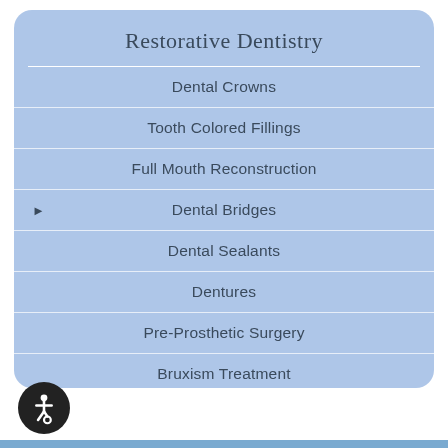Restorative Dentistry
Dental Crowns
Tooth Colored Fillings
Full Mouth Reconstruction
Dental Bridges
Dental Sealants
Dentures
Pre-Prosthetic Surgery
Bruxism Treatment
Cleft Lip and Palate
[Figure (logo): Wheelchair accessibility icon in a dark circular button at bottom left]